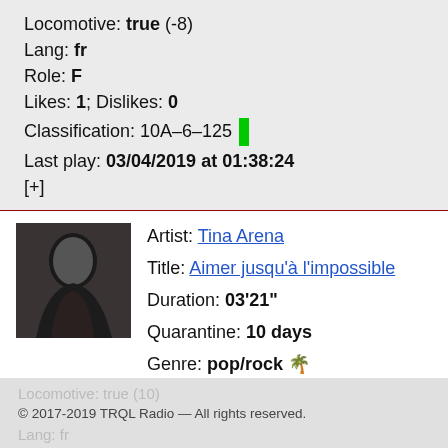Locomotive: true (-8)
Lang: fr
Role: F
Likes: 1; Dislikes: 0
Classification: 10A-6-125
Last play: 03/04/2019 at 01:38:24
[+]
Artist: Tina Arena
Title: Aimer jusqu'à l'impossible
[Figure (photo): Album art photo of Tina Arena, woman in dark clothing]
Duration: 03'21"
Quarantine: 10 days
Genre: pop/rock 🌴
Locomotive: true (10)
© 2017-2019 TRQL Radio — All rights reserved.
Lang: fr